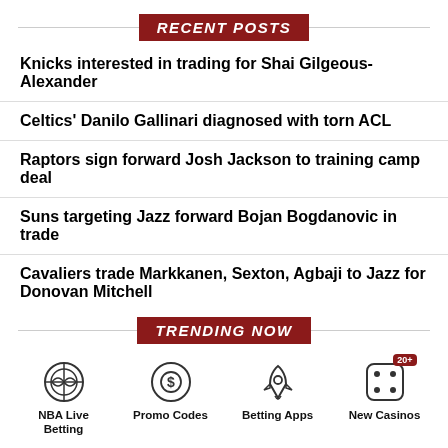RECENT POSTS
Knicks interested in trading for Shai Gilgeous-Alexander
Celtics' Danilo Gallinari diagnosed with torn ACL
Raptors sign forward Josh Jackson to training camp deal
Suns targeting Jazz forward Bojan Bogdanovic in trade
Cavaliers trade Markkanen, Sexton, Agbaji to Jazz for Donovan Mitchell
TRENDING NOW
NBA Live Betting
Promo Codes
Betting Apps
New Casinos